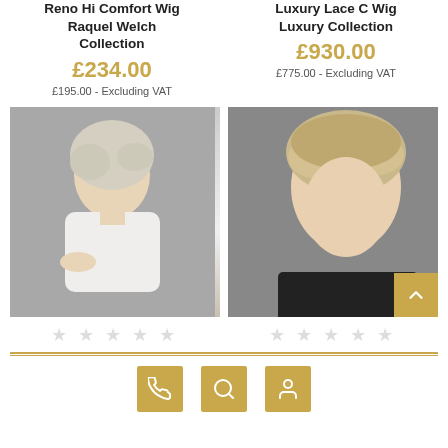Reno Hi Comfort Wig Raquel Welch Collection
£234.00
£195.00 - Excluding VAT
Luxury Lace C Wig Luxury Collection
£930.00
£775.00 - Excluding VAT
[Figure (photo): Woman with short silver-blonde wavy wig, side profile, white top, grey background]
[Figure (photo): Woman with short sandy-blonde layered wig, facing forward, dark jacket, close-up]
[Figure (other): Five empty star ratings under each product]
[Figure (infographic): Footer with three gold icon buttons: phone, search, and person/account icons]